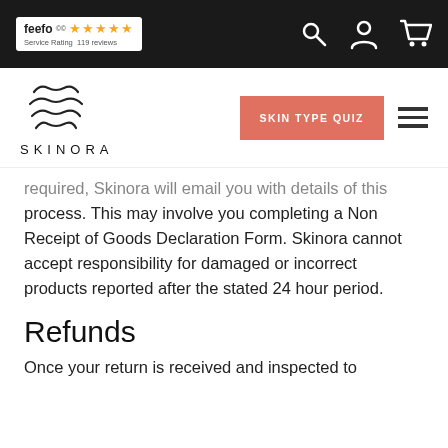[Figure (logo): Feefo service rating badge with 5 stars and '119 reviews']
[Figure (logo): Skinora logo with wave/leaf mark and 'SKINORA' text]
[Figure (infographic): SKIN TYPE QUIZ button and hamburger menu icon]
required, Skinora will email you with details of this process. This may involve you completing a Non Receipt of Goods Declaration Form. Skinora cannot accept responsibility for damaged or incorrect products reported after the stated 24 hour period.
Refunds
Once your return is received and inspected to